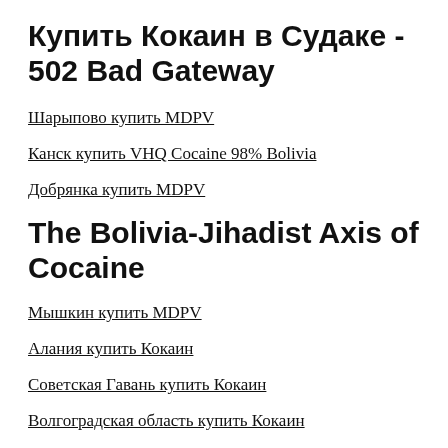Купить Кокаин в Судаке - 502 Bad Gateway
Шарыпово купить MDPV
Канск купить VHQ Cocaine 98% Bolivia
Добрянка купить MDPV
The Bolivia-Jihadist Axis of Cocaine
Мышкин купить MDPV
Алания купить Кокаин
Советская Гавань купить Кокаин
Волгоградская область купить Кокаин